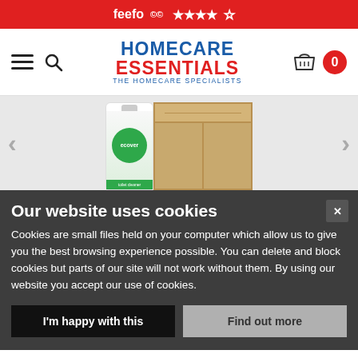[Figure (screenshot): Feefo rating bar with logo and 4 out of 5 stars]
[Figure (logo): Homecare Essentials - The Homecare Specialists logo with navigation icons, hamburger menu, search, basket and cart count]
[Figure (photo): Product image showing Ecover toilet cleaner bottle and cardboard box on grey background with left/right navigation arrows]
Our website uses cookies
Cookies are small files held on your computer which allow us to give you the best browsing experience possible. You can delete and block cookies but parts of our site will not work without them. By using our website you accept our use of cookies.
I'm happy with this
Find out more